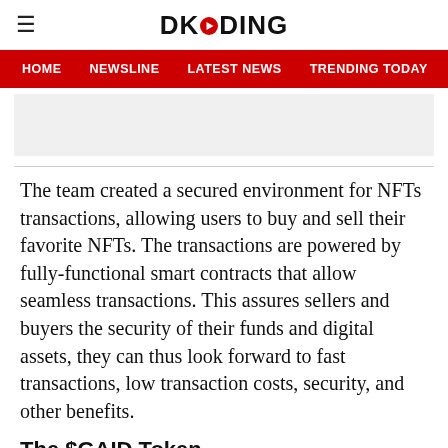DKODING
HOME   NEWSLINE   LATEST NEWS   TRENDING TODAY   ENT
[Figure (other): Advertisement placeholder banner]
The team created a secured environment for NFTs transactions, allowing users to buy and sell their favorite NFTs. The transactions are powered by fully-functional smart contracts that allow seamless transactions. This assures sellers and buyers the security of their funds and digital assets, they can thus look forward to fast transactions, low transaction costs, security, and other benefits.
The $GAID Token